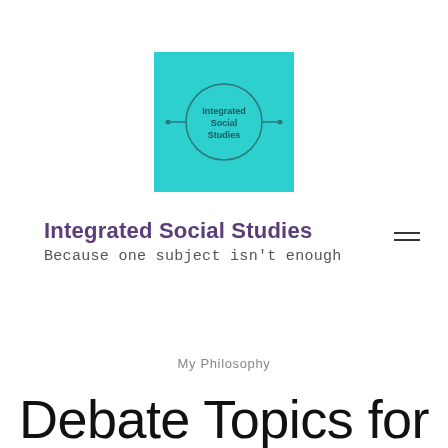[Figure (logo): Teal/cyan square logo with a circle in the center containing the text 'Integrated Social Studies']
Integrated Social Studies
Because one subject isn't enough
My Philosophy
Debate Topics for High